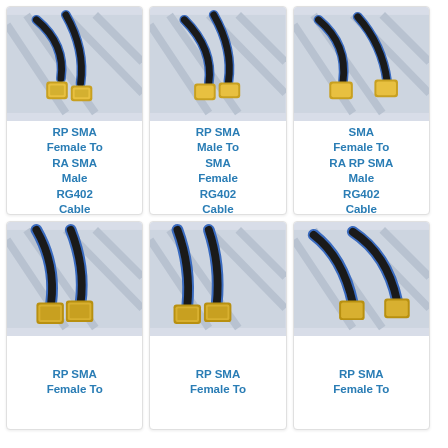[Figure (photo): Blue and black coaxial cable with gold RP SMA Female connector and right-angle RA SMA Male connector, RG402]
RP SMA Female To RA SMA Male RG402 Cable
[Figure (photo): Blue and black coaxial cable with gold RP SMA Male connector and SMA Female connector, RG402]
RP SMA Male To SMA Female RG402 Cable
[Figure (photo): Blue and black coaxial cable with gold SMA Female connector and right-angle RA RP SMA Male connector, RG402]
SMA Female To RA RP SMA Male RG402 Cable
[Figure (photo): Blue and black coaxial cable with two gold RP SMA Female connectors, RG402]
RP SMA Female To
[Figure (photo): Blue and black coaxial cable with two gold RP SMA Female connectors at angle, RG402]
RP SMA Female To
[Figure (photo): Blue and black coaxial cable with two gold RP SMA Female right-angle connectors, RG402]
RP SMA Female To